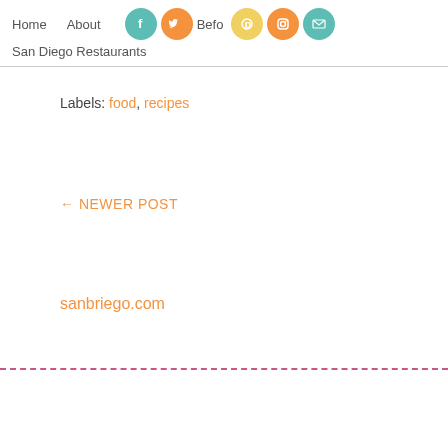Home  About  [social icons: Facebook, Twitter]  Befo  [Pinterest, Instagram, Email]  San Diego Restaurants
Labels: food, recipes
← NEWER POST
sanbriego.com